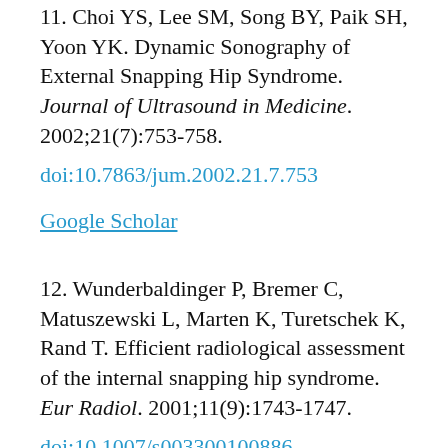11. Choi YS, Lee SM, Song BY, Paik SH, Yoon YK. Dynamic Sonography of External Snapping Hip Syndrome. Journal of Ultrasound in Medicine. 2002;21(7):753-758. doi:10.7863/jum.2002.21.7.753
Google Scholar
12. Wunderbaldinger P, Bremer C, Matuszewski L, Marten K, Turetschek K, Rand T. Efficient radiological assessment of the internal snapping hip syndrome. Eur Radiol. 2001;11(9):1743-1747. doi:10.1007/s003300100886
Google Scholar
13. ...